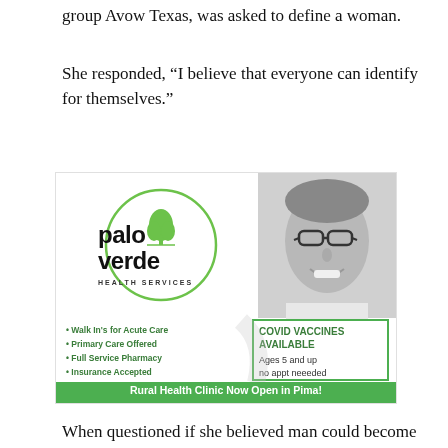group Avow Texas, was asked to define a woman.
She responded, “I believe that everyone can identify for themselves.”
[Figure (infographic): Palo Verde Health Services advertisement. Includes logo with green tree icon, photo of smiling man with glasses, services list (Walk In’s for Acute Care, Primary Care Offered, Full Service Pharmacy, Insurance Accepted), COVID Vaccines Available box (Ages 5 and up, no appt neeeded), and green footer: Rural Health Clinic Now Open in Pima! 18 W. Center Street • 928.485.4315 • M-F 9 AM–6 PM]
When questioned if she believed man could become